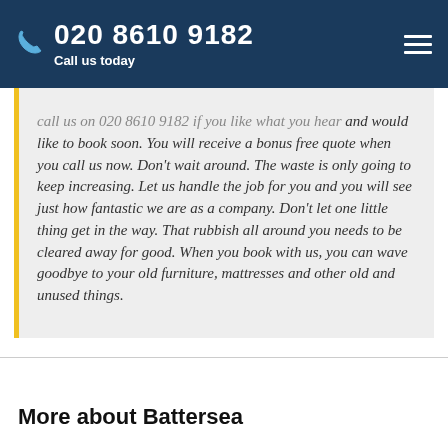020 8610 9182
Call us today
call us on 020 8610 9182 if you like what you hear and would like to book soon. You will receive a bonus free quote when you call us now. Don't wait around. The waste is only going to keep increasing. Let us handle the job for you and you will see just how fantastic we are as a company. Don't let one little thing get in the way. That rubbish all around you needs to be cleared away for good. When you book with us, you can wave goodbye to your old furniture, mattresses and other old and unused things.
More about Battersea